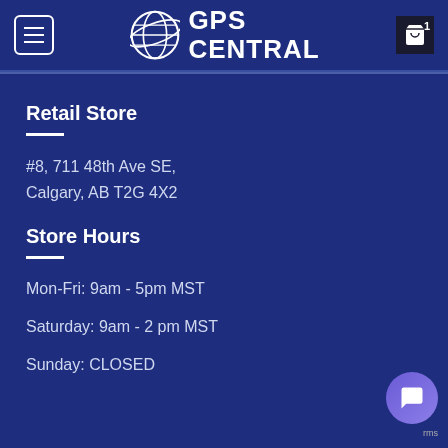GPS CENTRAL
Retail Store
#8, 711 48th Ave SE,
Calgary, AB T2G 4X2
Store Hours
Mon-Fri: 9am - 5pm MST
Saturday: 9am - 2 pm MST
Sunday: CLOSED